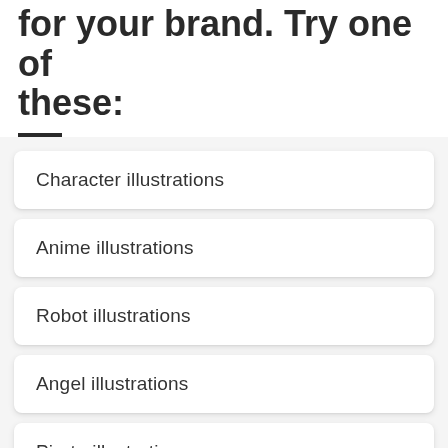for your brand. Try one of these:
Character illustrations
Anime illustrations
Robot illustrations
Angel illustrations
Pirate illustrations
Superhero illustrations